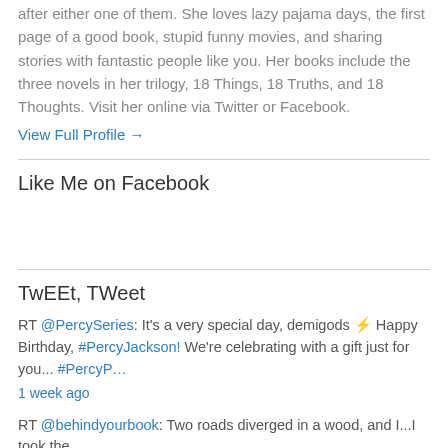after either one of them. She loves lazy pajama days, the first page of a good book, stupid funny movies, and sharing stories with fantastic people like you. Her books include the three novels in her trilogy, 18 Things, 18 Truths, and 18 Thoughts. Visit her online via Twitter or Facebook.
View Full Profile →
Like Me on Facebook
TwEEt, TWeet
RT @PercySeries: It's a very special day, demigods ⚡ Happy Birthday, # percyJackson! We're celebrating with a gift just for you... #PercyP…
1 week ago
RT @behindyourbook: Two roads diverged in a wood, and I...I took the